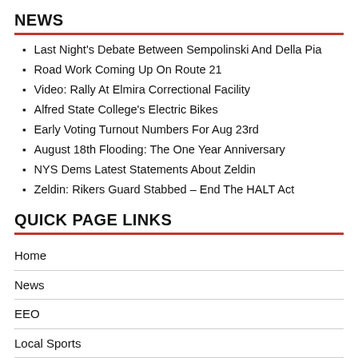NEWS
Last Night's Debate Between Sempolinski And Della Pia
Road Work Coming Up On Route 21
Video: Rally At Elmira Correctional Facility
Alfred State College's Electric Bikes
Early Voting Turnout Numbers For Aug 23rd
August 18th Flooding: The One Year Anniversary
NYS Dems Latest Statements About Zeldin
Zeldin: Rikers Guard Stabbed – End The HALT Act
QUICK PAGE LINKS
Home
News
EEO
Local Sports